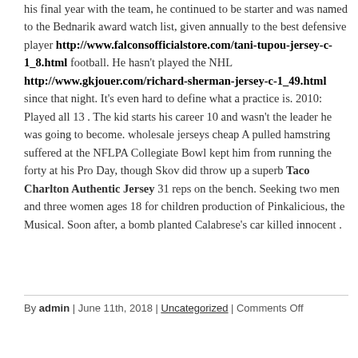his final year with the team, he continued to be starter and was named to the Bednarik award watch list, given annually to the best defensive player http://www.falconsofficialstore.com/tani-tupou-jersey-c-1_8.html football. He hasn't played the NHL http://www.gkjouer.com/richard-sherman-jersey-c-1_49.html since that night. It's even hard to define what a practice is. 2010: Played all 13 . The kid starts his career 10 and wasn't the leader he was going to become. wholesale jerseys cheap A pulled hamstring suffered at the NFLPA Collegiate Bowl kept him from running the forty at his Pro Day, though Skov did throw up a superb Taco Charlton Authentic Jersey 31 reps on the bench. Seeking two men and three women ages 18 for children production of Pinkalicious, the Musical. Soon after, a bomb planted Calabrese's car killed innocent .
By admin | June 11th, 2018 | Uncategorized | Comments Off